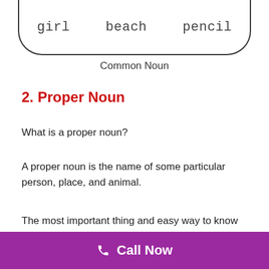[Figure (illustration): Rounded rectangle box (bottom half visible) containing three words: girl, beach, pencil — example common nouns]
Common Noun
2. Proper Noun
What is a proper noun?
A proper noun is the name of some particular person, place, and animal.
The most important thing and easy way to know that a particular word is a proper noun are “it always starts with a capital letter”.
Call Now